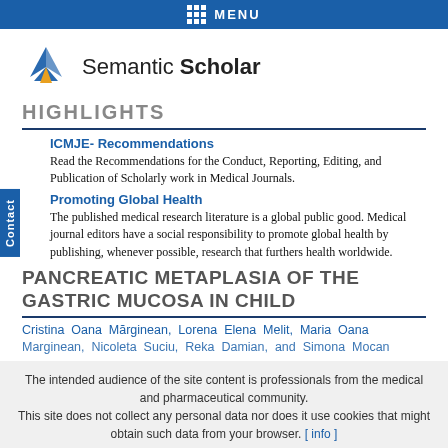MENU
[Figure (logo): Semantic Scholar logo with stylized open book / wing shape in blue and gold, followed by text 'Semantic Scholar']
HIGHLIGHTS
ICMJE- Recommendations
Read the Recommendations for the Conduct, Reporting, Editing, and Publication of Scholarly work in Medical Journals.
Promoting Global Health
The published medical research literature is a global public good. Medical journal editors have a social responsibility to promote global health by publishing, whenever possible, research that furthers health worldwide.
PANCREATIC METAPLASIA OF THE GASTRIC MUCOSA IN CHILD
Cristina Oana Mărginean, Lorena Elena Melit, Maria Oana Marginean, Nicoleta Suciu, Reka Damian, and Simona Mocan
The intended audience of the site content is professionals from the medical and pharmaceutical community. This site does not collect any personal data nor does it use cookies that might obtain such data from your browser. [ info ]